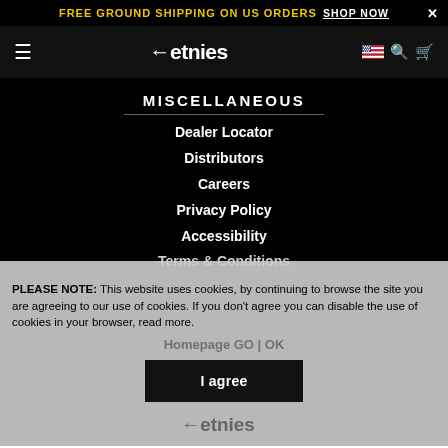FREE GROUND SHIPPING ON US ORDERS  SHOP NOW  ×
[Figure (screenshot): etnies logo in navigation bar with hamburger menu, US flag, search and cart icons]
MISCELLANEOUS
Dealer Locator
Distributors
Careers
Privacy Policy
Accessibility
Terms & Conditions
PLEASE NOTE: This website uses cookies, by continuing to browse the site you are agreeing to our use of cookies. If you don't agree you can disable the use of cookies in your browser, read more.
Ethical Policy (SB 657)
Homepage GO | OK
I agree
[Figure (logo): etnies logo at bottom]